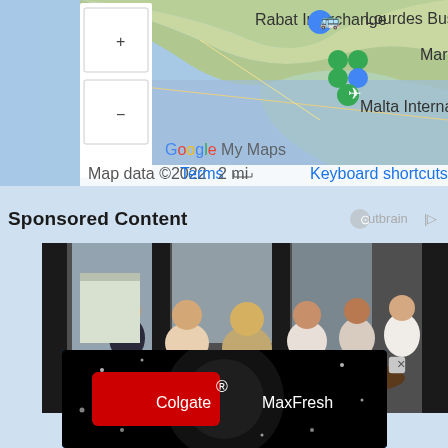[Figure (map): Google My Maps screenshot showing Malta area with bus stop markers, Malta International Airport label, Lourdes Bus Stop, Rabat Interchange, and Marsaxlokk labels. Map includes zoom controls (+/-), scale bar showing 2 mi, and copyright information: Map data ©2022 Terms, Keyboard shortcuts.]
Sponsored Content
[Figure (photo): Business meeting photo showing a group of professionals seated around a table in a modern office with large windows, viewed through glass panels.]
[Figure (other): Colgate MaxFresh advertisement banner with blue gradient background showing sparkles/stars and the Colgate and MaxFresh logos in white and red text.]